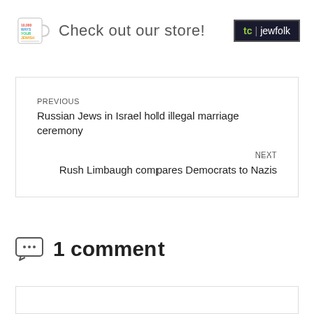[Figure (illustration): Store advertisement banner with a mug graphic, 'Check out our store!' text, and tc|jewfolk logo]
PREVIOUS
Russian Jews in Israel hold illegal marriage ceremony
NEXT
Rush Limbaugh compares Democrats to Nazis
1 comment